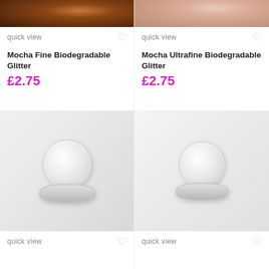[Figure (photo): Top portion of a brown glitter product image (Mocha Fine Biodegradable Glitter)]
quick view
Mocha Fine Biodegradable Glitter
£2.75
[Figure (photo): Top portion of a rose/pink glitter product image (Mocha Ultrafine Biodegradable Glitter)]
quick view
Mocha Ultrafine Biodegradable Glitter
£2.75
[Figure (photo): White/clear glitter in a small round transparent jar, white background]
quick view
[Figure (photo): White/clear glitter in a small round transparent jar, white background]
quick view